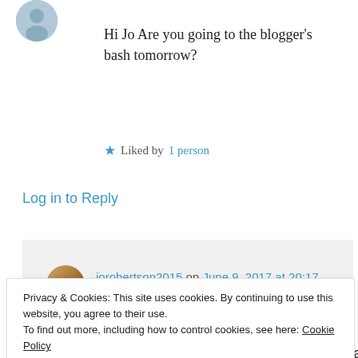Hi Jo Are you going to the blogger's bash tomorrow?
★ Liked by 1 person
Log in to Reply
jorobertson2015 on June 9, 2017 at 20:17
Yes I'm really excited to be going!
★ Like
Privacy & Cookies: This site uses cookies. By continuing to use this website, you agree to their use. To find out more, including how to control cookies, see here: Cookie Policy
Close and accept
Just want you to know that I'm thinking about